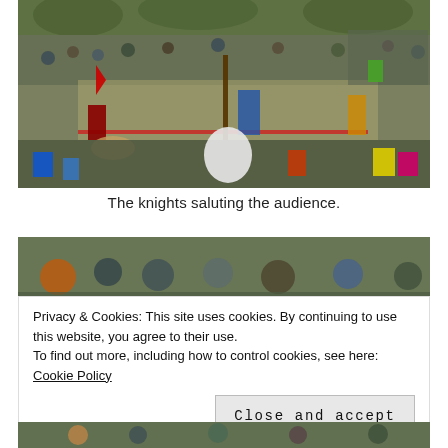[Figure (photo): A large outdoor crowd watching a medieval knights event. Knights in colorful costumes on horseback are visible in the center arena area, surrounded by a large audience of spectators in a park setting with trees in the background.]
The knights saluting the audience.
[Figure (photo): Partial view of a crowd of spectators seated outdoors, partially obscured by a cookie consent banner overlay.]
Privacy & Cookies: This site uses cookies. By continuing to use this website, you agree to their use.
To find out more, including how to control cookies, see here: Cookie Policy
[Close and accept]
[Figure (photo): Bottom sliver of another outdoor photo showing people at the event.]